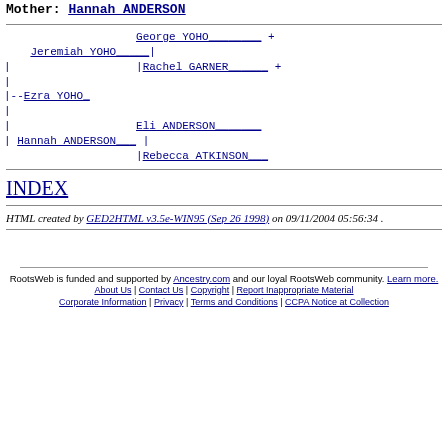Mother: Hannah ANDERSON
[Figure (other): Genealogical ancestor tree diagram showing: Jeremiah YOHO connected to parents George YOHO+ and Rachel GARNER+; Ezra YOHO as subject; Hannah ANDERSON connected to parents Eli ANDERSON and Rebecca ATKINSON]
INDEX
HTML created by GED2HTML v3.5e-WIN95 (Sep 26 1998) on 09/11/2004 05:56:34 .
RootsWeb is funded and supported by Ancestry.com and our loyal RootsWeb community. Learn more. | About Us | Contact Us | Copyright | Report Inappropriate Material | Corporate Information | Privacy | Terms and Conditions | CCPA Notice at Collection